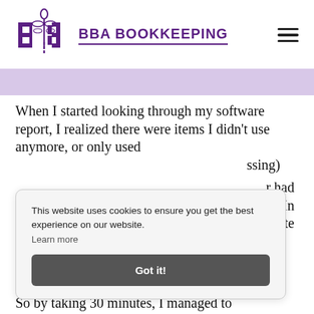[Figure (logo): BBA Bookkeeping logo with purple dragonfly/pin icon and purple bold text 'BBA BOOKKEEPING' underlined]
When I started looking through my software report, I realized there were items I didn't use anymore, or only used [partially obscured text] ...ssing) ...r had ...In ...te
This website uses cookies to ensure you get the best experience on our website.
Learn more
Got it!
So by taking 30 minutes, I managed to